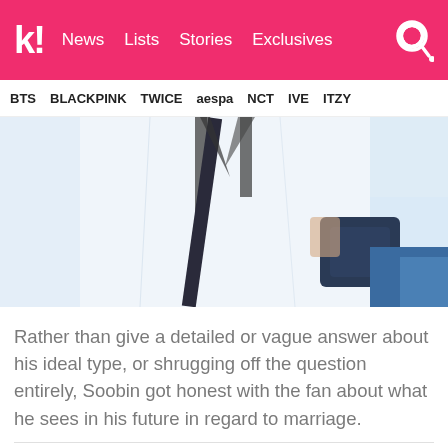koreaboo | News | Lists | Stories | Exclusives
BTS | BLACKPINK | TWICE | aespa | NCT | IVE | ITZY
[Figure (photo): Close-up photo of a person wearing a white shirt with a dark bag strap across their chest, blurred background]
Rather than give a detailed or vague answer about his ideal type, or shrugging off the question entirely, Soobin got honest with the fan about what he sees in his future in regard to marriage.